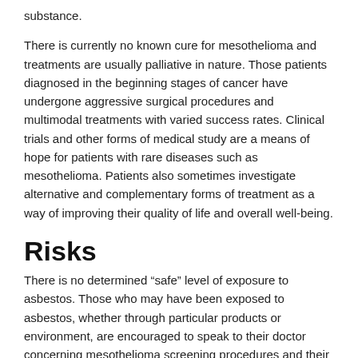substance.
There is currently no known cure for mesothelioma and treatments are usually palliative in nature. Those patients diagnosed in the beginning stages of cancer have undergone aggressive surgical procedures and multimodal treatments with varied success rates. Clinical trials and other forms of medical study are a means of hope for patients with rare diseases such as mesothelioma. Patients also sometimes investigate alternative and complementary forms of treatment as a way of improving their quality of life and overall well-being.
Risks
There is no determined “safe” level of exposure to asbestos. Those who may have been exposed to asbestos, whether through particular products or environment, are encouraged to speak to their doctor concerning mesothelioma screening procedures and their probability of developing the cancer.
Reference:
American Cancer Society